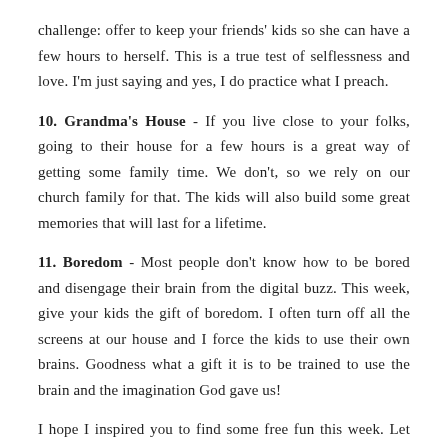challenge: offer to keep your friends' kids so she can have a few hours to herself. This is a true test of selflessness and love. I'm just saying and yes, I do practice what I preach.
10. Grandma's House - If you live close to your folks, going to their house for a few hours is a great way of getting some family time. We don't, so we rely on our church family for that. The kids will also build some great memories that will last for a lifetime.
11. Boredom - Most people don't know how to be bored and disengage their brain from the digital buzz. This week, give your kids the gift of boredom. I often turn off all the screens at our house and I force the kids to use their own brains. Goodness what a gift it is to be trained to use the brain and the imagination God gave us!
I hope I inspired you to find some free fun this week. Let me know how it goes!